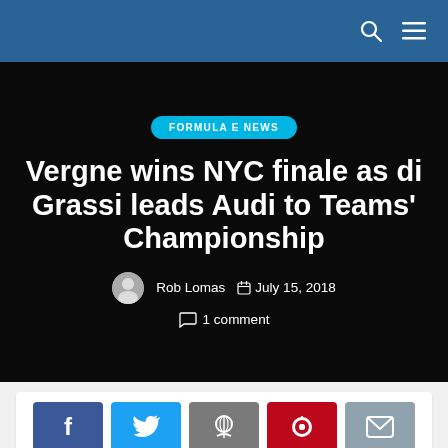FORMULA E NEWS
Vergne wins NYC finale as di Grassi leads Audi to Teams' Championship
Rob Lomas  July 15, 2018
1 comment
[Figure (other): Social share buttons: Facebook, Twitter, Reddit, Pinterest, Email]